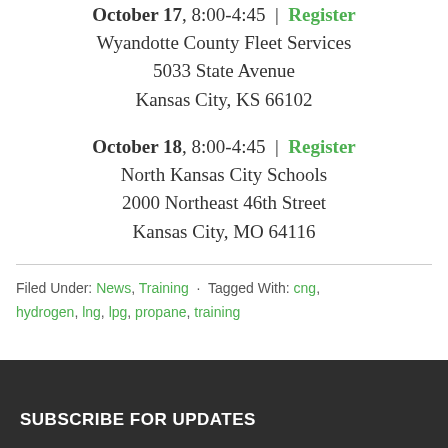October 17, 8:00-4:45 | Register
Wyandotte County Fleet Services
5033 State Avenue
Kansas City, KS 66102
October 18, 8:00-4:45 | Register
North Kansas City Schools
2000 Northeast 46th Street
Kansas City, MO 64116
Filed Under: News, Training · Tagged With: cng, hydrogen, lng, lpg, propane, training
SUBSCRIBE FOR UPDATES